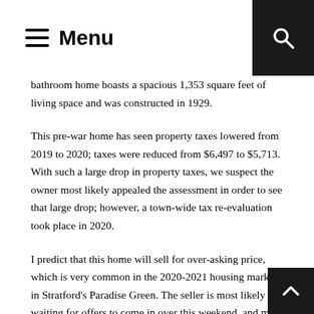Menu
bathroom home boasts a spacious 1,353 square feet of living space and was constructed in 1929.
This pre-war home has seen property taxes lowered from 2019 to 2020; taxes were reduced from $6,497 to $5,713. With such a large drop in property taxes, we suspect the owner most likely appealed the assessment in order to see that large drop; however, a town-wide tax re-evaluation took place in 2020.
I predict that this home will sell for over-asking price, which is very common in the 2020-2021 housing market in Stratford's Paradise Green. The seller is most likely waiting for offers to come in over this weekend, and may have a highest and best offer scenario. Typically, a home is listed during a weekday